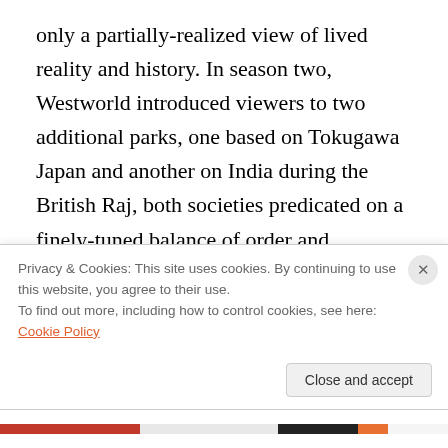only a partially-realized view of lived reality and history. In season two, Westworld introduced viewers to two additional parks, one based on Tokugawa Japan and another on India during the British Raj, both societies predicated on a finely-tuned balance of order and violence. Following the events in Escalante, however, removing the limits on the consequences of violence, not only democratized experience in the parks, but also brought them into historical continuity with the regions in which they are based. In short, it injected a bloody ambiguity into the narratives of the visitors who came to
Privacy & Cookies: This site uses cookies. By continuing to use this website, you agree to their use.
To find out more, including how to control cookies, see here: Cookie Policy
Close and accept